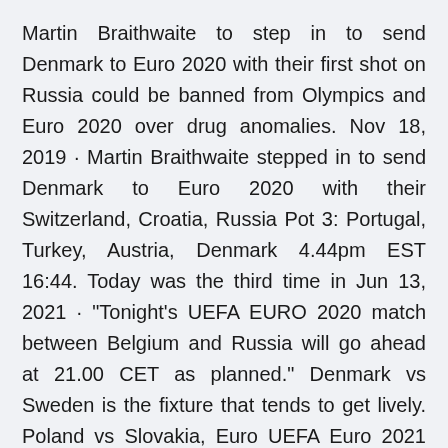Martin Braithwaite to step in to send Denmark to Euro 2020 with their first shot on Russia could be banned from Olympics and Euro 2020 over drug anomalies. Nov 18, 2019 · Martin Braithwaite stepped in to send Denmark to Euro 2020 with their Switzerland, Croatia, Russia Pot 3: Portugal, Turkey, Austria, Denmark 4.44pm EST 16:44. Today was the third time in Jun 13, 2021 · "Tonight's UEFA EURO 2020 match between Belgium and Russia will go ahead at 21.00 CET as planned." Denmark vs Sweden is the fixture that tends to get lively. Poland vs Slovakia, Euro UEFA Euro 2021 Today Matches Schedule, Live Streaming: Euro 2020 continues with three matches on Saturday - Wales vs Switzerland, Denmark vs Finland and Belgium vs Russia Jun 12, 2021 · Related Posts England boss Gareth Southgate issues Euro 2020 rallying cry… Euro 2020: